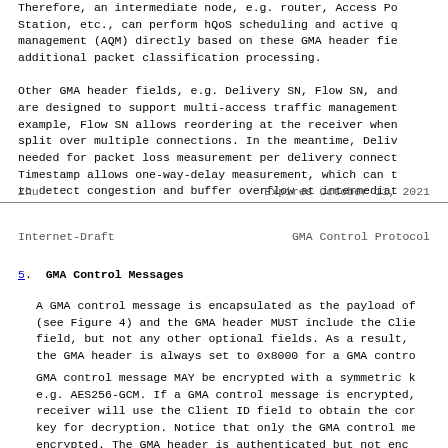Therefore, an intermediate node, e.g. router, Access Po Station, etc., can perform hQoS scheduling and active q management (AQM) directly based on these GMA header fie additional packet classification processing.

Other GMA header fields, e.g. Delivery SN, Flow SN, and are designed to support multi-access traffic management example, Flow SN allows reordering at the receiver when split over multiple connections. In the meantime, Deliv needed for packet loss measurement per delivery connect Timestamp allows one-way-delay measurement, which can t to detect congestion and buffer overflow at intermediat
Zhu                     Expires October 11, 2021
Internet-Draft          GMA Control Protocol
5.  GMA Control Messages
A GMA control message is encapsulated as the payload of (see Figure 4) and the GMA header MUST include the Clie field, but not any other optional fields. As a result, the GMA header is always set to 0x8000 for a GMA contro
GMA control message MAY be encrypted with a symmetric k e.g. AES256-GCM. If a GMA control message is encrypted, receiver will use the Client ID field to obtain the cor key for decryption. Notice that only the GMA control me encrypted. The GMA header is authenticated but not enc